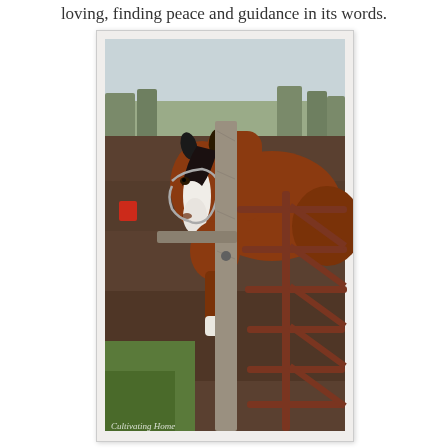loving, finding peace and guidance in its words.
[Figure (photo): A chestnut horse with a white blaze on its face stands at a metal gate/fence in a muddy paddock. A wooden fence post is in the foreground. The horse wears a halter. Green grass and bare trees visible in the background. Watermark reads 'Cultivating Home'.]